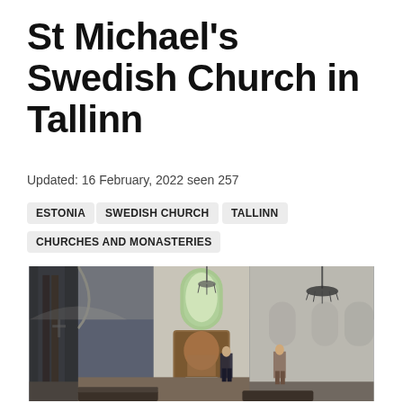St Michael's Swedish Church in Tallinn
Updated: 16 February, 2022 seen 257
ESTONIA
SWEDISH CHURCH
TALLINN
CHURCHES AND MONASTERIES
[Figure (photo): Interior of St Michael's Swedish Church in Tallinn, Estonia. Shows the church nave with stone arched columns on the left, a central altar with a framed painting, an arched window letting in natural light, a chandelier on the right, and two visitors standing near the altar area. Pews are visible in the foreground. The walls are whitewashed plaster in a Baroque/Gothic style interior.]